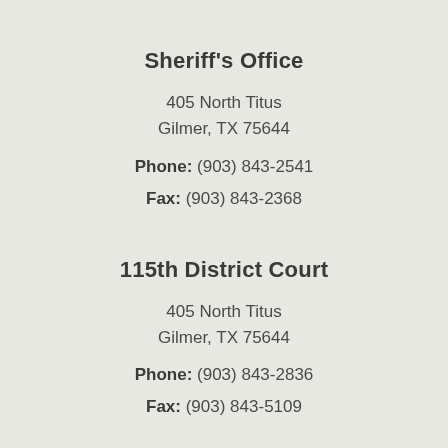Sheriff's Office
405 North Titus
Gilmer, TX 75644
Phone: (903) 843-2541
Fax: (903) 843-2368
115th District Court
405 North Titus
Gilmer, TX 75644
Phone: (903) 843-2836
Fax: (903) 843-5109